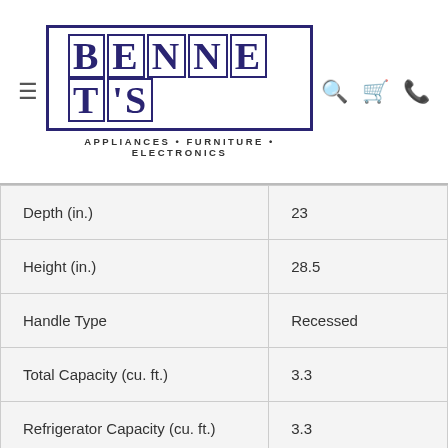BENNET'S APPLIANCES • FURNITURE • ELECTRONICS
| Specification | Value |
| --- | --- |
| Depth (in.) | 23 |
| Height (in.) | 28.5 |
| Handle Type | Recessed |
| Total Capacity (cu. ft.) | 3.3 |
| Refrigerator Capacity (cu. ft.) | 3.3 |
| Fingerprint Resistant Finish | No |
| Appliance Fit Width (in.) | 21 |